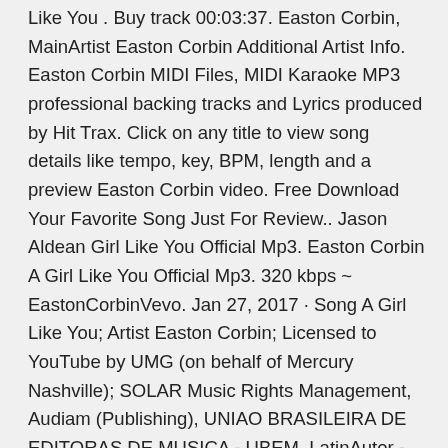Like You . Buy track 00:03:37. Easton Corbin, MainArtist Easton Corbin Additional Artist Info. Easton Corbin MIDI Files, MIDI Karaoke MP3 professional backing tracks and Lyrics produced by Hit Trax. Click on any title to view song details like tempo, key, BPM, length and a preview Easton Corbin video. Free Download Your Favorite Song Just For Review.. Jason Aldean Girl Like You Official Mp3. Easton Corbin A Girl Like You Official Mp3. 320 kbps ~ EastonCorbinVevo. Jan 27, 2017 · Song A Girl Like You; Artist Easton Corbin; Licensed to YouTube by UMG (on behalf of Mercury Nashville); SOLAR Music Rights Management, Audiam (Publishing), UNIAO BRASILEIRA DE EDITORAS DE MUSICA - UBEM, LatinAutor - SonyATV, ASCAP, BMI - Broadcast Music Inc., PEDL, LatinAutor, AMRA, Warner Chappell, LatinAutor - Warner Chappell, EMI Music Publishing, Downtown Music Publishing, CMRRA, and 11 Here you can find corbin mourn shared files. Download Where Lovers Mourn